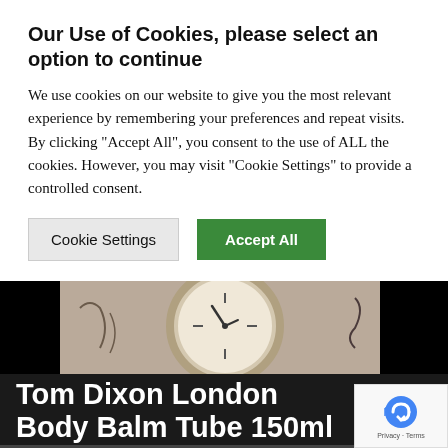Our Use of Cookies, please select an option to continue
We use cookies on our website to give you the most relevant experience by remembering your preferences and repeat visits. By clicking “Accept All”, you consent to the use of ALL the cookies. However, you may visit "Cookie Settings" to provide a controlled consent.
[Figure (photo): Partial view of a decorative clock on a wall, visible through the cookie banner overlay]
Tom Dixon London Body Balm Tube 150ml